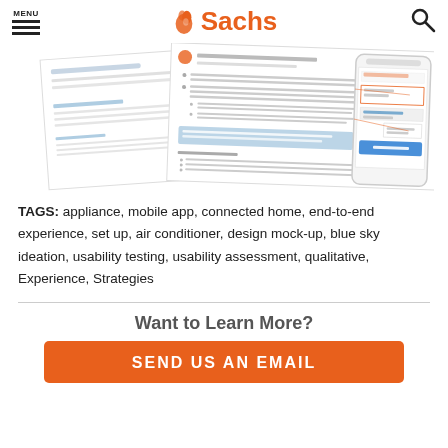MENU | Sachs
[Figure (screenshot): Blurred screenshot of a UX report page showing text content and a mobile app interface mockup on the right side]
TAGS: appliance, mobile app, connected home, end-to-end experience, set up, air conditioner, design mock-up, blue sky ideation, usability testing, usability assessment, qualitative, Experience, Strategies
Want to Learn More?
SEND US AN EMAIL